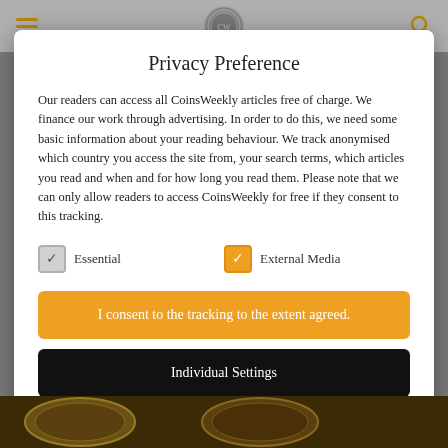Privacy Preference
Our readers can access all CoinsWeekly articles free of charge. We finance our work through advertising. In order to do this, we need some basic information about your reading behaviour. We track anonymised which country you access the site from, your search terms, which articles you read and when and for how long you read them. Please note that we can only allow readers to access CoinsWeekly for free if they consent to this tracking.
Essential
External Media
I consent to the tracking to the extent agreed.
Individual Settings